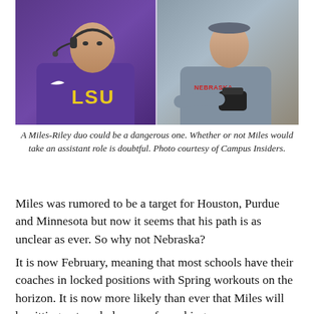[Figure (photo): Side-by-side photo of two football coaches. Left side shows a coach in a purple LSU jacket with a headset. Right side shows a coach in a grey Nebraska Football hoodie holding equipment.]
A Miles-Riley duo could be a dangerous one. Whether or not Miles would take an assistant role is doubtful. Photo courtesy of Campus Insiders.
Miles was rumored to be a target for Houston, Purdue and Minnesota but now it seems that his path is as unclear as ever. So why not Nebraska?
It is now February, meaning that most schools have their coaches in locked positions with Spring workouts on the horizon. It is now more likely than ever that Miles will be sitting out a whole year of coaching.